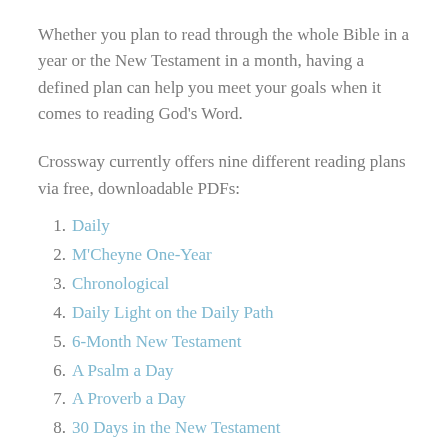Whether you plan to read through the whole Bible in a year or the New Testament in a month, having a defined plan can help you meet your goals when it comes to reading God's Word.
Crossway currently offers nine different reading plans via free, downloadable PDFs:
Daily
M'Cheyne One-Year
Chronological
Daily Light on the Daily Path
6-Month New Testament
A Psalm a Day
A Proverb a Day
30 Days in the New Testament